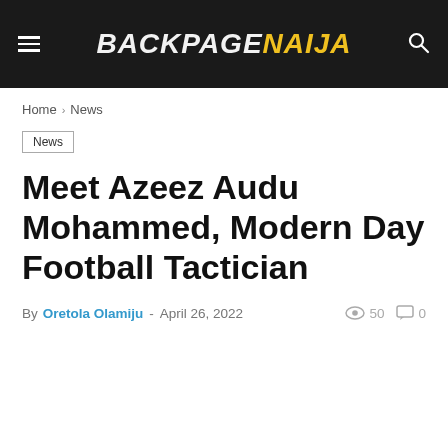BACKPAGENAIJA
Home › News
News
Meet Azeez Audu Mohammed, Modern Day Football Tactician
By Oretola Olamiju - April 26, 2022   50   0